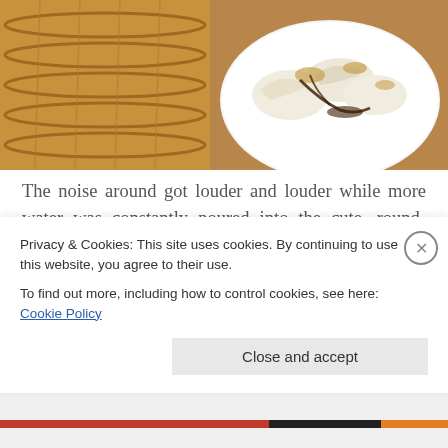[Figure (photo): Photo of dim sum dumplings on a white plate with dark sauce, next to a bamboo steamer basket]
The noise around got louder and louder while more water was constantly poured into the cute, round-bellied tea pots, and ever more exciting dim sum choices kept appearing on the trolleys. Soon enough, our eyes started being bigger than our belly, and we realised that we were
Privacy & Cookies: This site uses cookies. By continuing to use this website, you agree to their use.
To find out more, including how to control cookies, see here: Cookie Policy
Close and accept